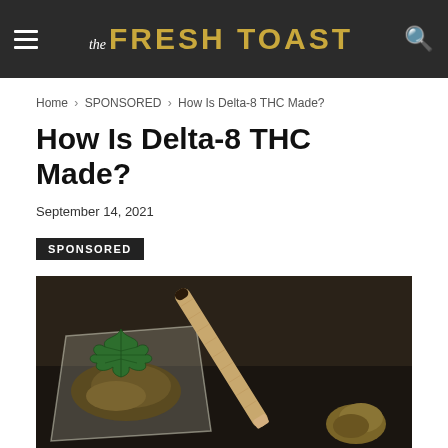the FRESH TOAST
Home › SPONSORED › How Is Delta-8 THC Made?
How Is Delta-8 THC Made?
September 14, 2021
SPONSORED
[Figure (photo): A cannabis joint resting on a clear plastic bag containing cannabis buds, with a green cannabis leaf illustration on the bag, photographed on a dark surface.]